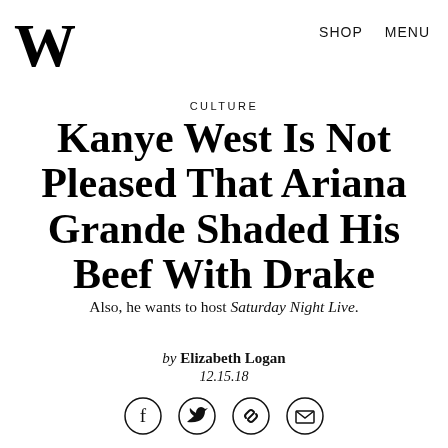W   SHOP   MENU
CULTURE
Kanye West Is Not Pleased That Ariana Grande Shaded His Beef With Drake
Also, he wants to host Saturday Night Live.
by Elizabeth Logan
12.15.18
[Figure (other): Social sharing icons: Facebook, Twitter, Link, Email]